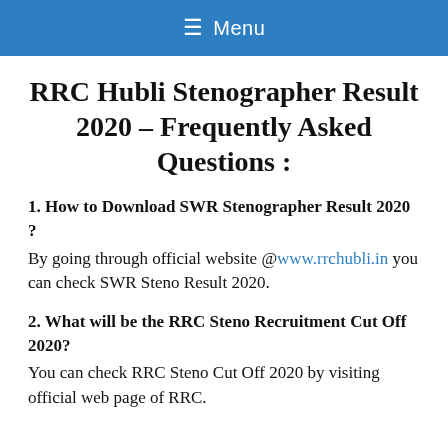≡ Menu
RRC Hubli Stenographer Result 2020 – Frequently Asked Questions :
1. How to Download SWR Stenographer Result 2020 ?
By going through official website @www.rrchubli.in you can check SWR Steno Result 2020.
2. What will be the RRC Steno Recruitment Cut Off 2020?
You can check RRC Steno Cut Off 2020 by visiting official web page of RRC.